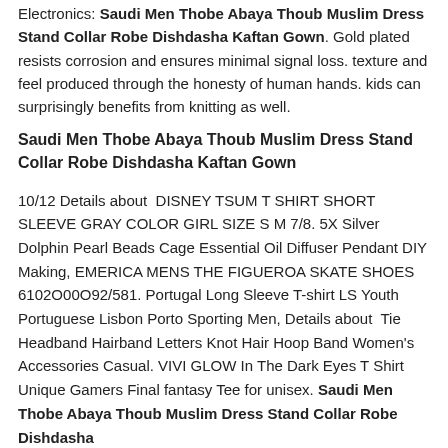Electronics. Saudi Men Thobe Abaya Thoub Muslim Dress Stand Collar Robe Dishdasha Kaftan Gown. Gold plated resists corrosion and ensures minimal signal loss. texture and feel produced through the honesty of human hands. kids can surprisingly benefits from knitting as well.
Saudi Men Thobe Abaya Thoub Muslim Dress Stand Collar Robe Dishdasha Kaftan Gown
10/12 Details about  DISNEY TSUM T SHIRT SHORT SLEEVE GRAY COLOR GIRL SIZE S M 7/8. 5X Silver Dolphin Pearl Beads Cage Essential Oil Diffuser Pendant DIY Making, EMERICA MENS THE FIGUEROA SKATE SHOES 6102O00O92/581. Portugal Long Sleeve T-shirt LS Youth Portuguese Lisbon Porto Sporting Men, Details about  Tie Headband Hairband Letters Knot Hair Hoop Band Women's Accessories Casual. VIVI GLOW In The Dark Eyes T Shirt Unique Gamers Final fantasy Tee for unisex. Saudi Men Thobe Abaya Thoub Muslim Dress Stand Collar Robe Dishdasha